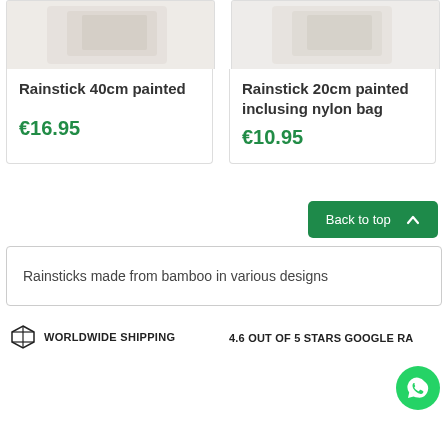[Figure (screenshot): Product card image top portion for Rainstick 40cm painted - light colored product photo cropped at top]
Rainstick 40cm painted
€16.95
[Figure (screenshot): Product card image top portion for Rainstick 20cm painted inclusing nylon bag - light colored product photo cropped at top]
Rainstick 20cm painted inclusing nylon bag
€10.95
Back to top
Rainsticks made from bamboo in various designs
WORLDWIDE SHIPPING
4.6 OUT OF 5 STARS GOOGLE RA